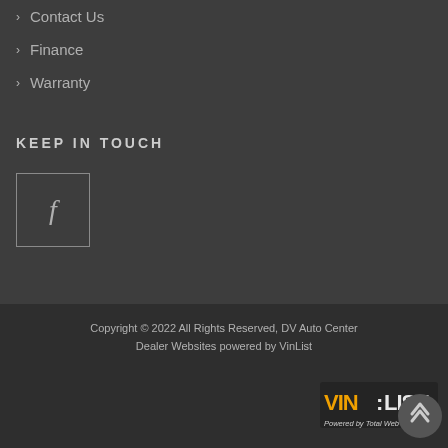> Contact Us
> Finance
> Warranty
KEEP IN TOUCH
[Figure (logo): Facebook icon square button with letter f]
Copyright © 2022 All Rights Reserved, DV Auto Center
Dealer Websites powered by VinList
[Figure (logo): VinList logo - Powered by Total Web Manager]